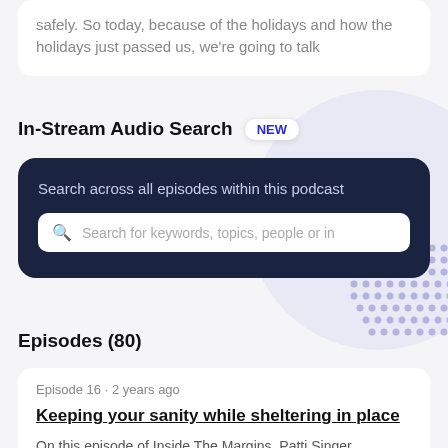safely. So today, because of the holidays and how the holidays just passed us, we're going to talk
In-Stream Audio Search NEW
Search across all episodes within this podcast
Search for keywords, topics, people or in
Episodes (80)
Episode 16 · 2 years ago
Keeping your sanity while sheltering in place
On this episode of Inside The Margins, Patti Singer